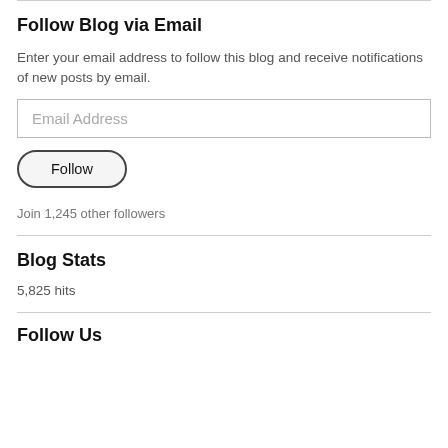Follow Blog via Email
Enter your email address to follow this blog and receive notifications of new posts by email.
Email Address
Follow
Join 1,245 other followers
Blog Stats
5,825 hits
Follow Us